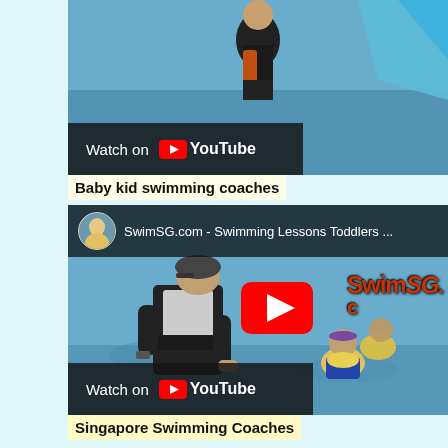[Figure (screenshot): YouTube video thumbnail showing swimming scene with 'Watch on YouTube' overlay bar at bottom]
Baby kid swimming coaches
[Figure (screenshot): YouTube embedded video player showing SwimSG.com - Swimming Lessons Toddlers, with channel avatar, title bar, red play button, SwimSG watermark, and 'Watch on YouTube' bar]
Singapore Swimming Coaches